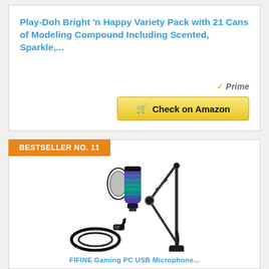Play-Doh Bright 'n Happy Variety Pack with 21 Cans of Modeling Compound Including Scented, Sparkle,...
[Figure (other): Amazon Prime logo with checkmark and italic 'Prime' text]
[Figure (other): Yellow 'Check on Amazon' button with shopping cart icon]
BESTSELLER NO. 11
[Figure (photo): RGB microphone with boom arm stand and USB cable accessories product photo]
FIFINE Gaming PC USB Microphone...